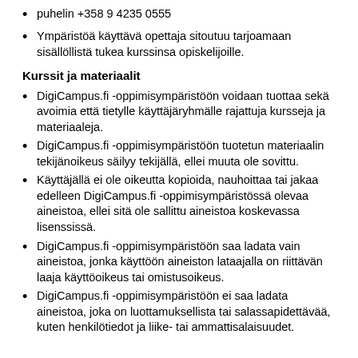puhelin +358 9 4235 0555
Ympäristöä käyttävä opettaja sitoutuu tarjoamaan sisällöllistä tukea kurssinsa opiskelijoille.
Kurssit ja materiaalit
DigiCampus.fi -oppimisympäristöön voidaan tuottaa sekä avoimia että tietylle käyttäjäryhmälle rajattuja kursseja ja materiaaleja.
DigiCampus.fi -oppimisympäristöön tuotetun materiaalin tekijänoikeus säilyy tekijällä, ellei muuta ole sovittu.
Käyttäjällä ei ole oikeutta kopioida, nauhoittaa tai jakaa edelleen DigiCampus.fi -oppimisympäristössä olevaa aineistoa, ellei sitä ole sallittu aineistoa koskevassa lisenssissä.
DigiCampus.fi -oppimisympäristöön saa ladata vain aineistoa, jonka käyttöön aineiston lataajalla on riittävän laaja käyttöoikeus tai omistusoikeus.
DigiCampus.fi -oppimisympäristöön ei saa ladata aineistoa, joka on luottamuksellista tai salassapidettävää, kuten henkilötiedot ja liike- tai ammattisalaisuudet.